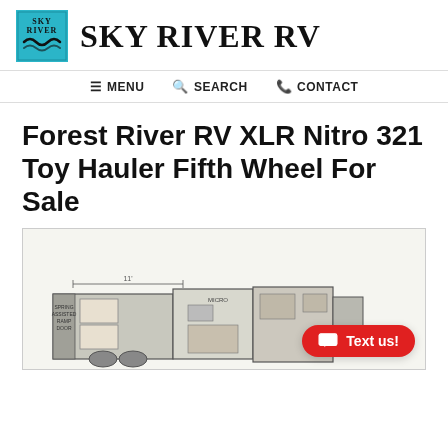[Figure (logo): Sky River RV logo — teal/blue square with 'Sky River' text and wave graphic, followed by 'SKY RIVER RV' in large serif uppercase text]
≡ MENU   🔍 SEARCH   📞 CONTACT
Forest River RV XLR Nitro 321 Toy Hauler Fifth Wheel For Sale
[Figure (schematic): Floor plan schematic of the Forest River RV XLR Nitro 321 toy hauler fifth wheel, showing layout with label '321' in upper left, with various room sections visible]